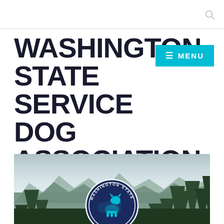WASHINGTON STATE SERVICE DOG ASSOCIATION
[Figure (logo): Washington State Service Dog Association circular logo with a dog silhouette and state outline on a cyan/navy background, overlaid on a photo of forested mountains with cloudy sky]